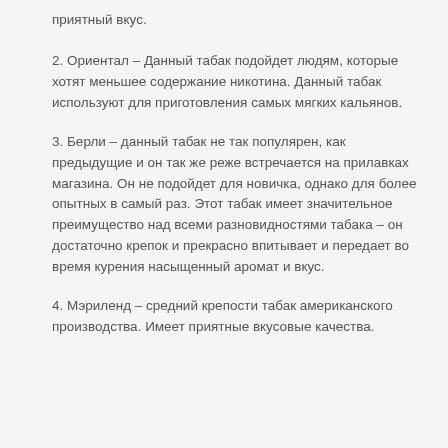приятный вкус.
2. Ориентал – Данный табак подойдет людям, которые хотят меньшее содержание никотина. Данный табак используют для приготовления самых мягких кальянов.
3. Берли – данный табак не так популярен, как предыдущие и он так же реже встречается на прилавках магазина. Он не подойдет для новичка, однако для более опытных в самый раз. Этот табак имеет значительное преимущество над всеми разновидностями табака – он достаточно крепок и прекрасно впитывает и передает во время курения насыщенный аромат и вкус.
4. Мэриленд – средний крепости табак американского производства. Имеет приятные вкусовые качества.